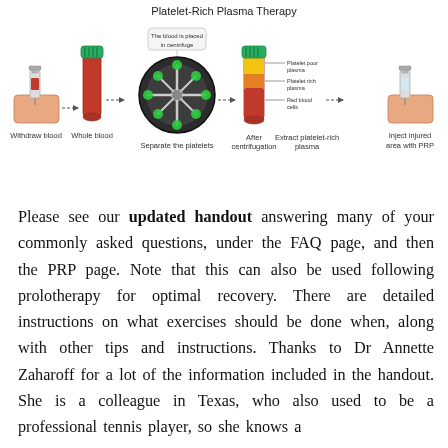[Figure (infographic): Platelet-Rich Plasma Therapy process diagram showing 6 steps: Withdraw blood (syringe into skin), Whole blood (blood collection tube), Separate the platelets (centrifuge machine), After centrifugation (tube with separated layers: Platelet poor plasma, Platelet rich plasma, Red blood cells), Extract platelet-rich plasma (tube), Inject injured area with PRP (syringe into skin). Steps connected by arrows.]
Please see our updated handout answering many of your commonly asked questions, under the FAQ page, and then the PRP page. Note that this can also be used following prolotherapy for optimal recovery. There are detailed instructions on what exercises should be done when, along with other tips and instructions. Thanks to Dr Annette Zaharoff for a lot of the information included in the handout. She is a colleague in Texas, who also used to be a professional tennis player, so she knows a